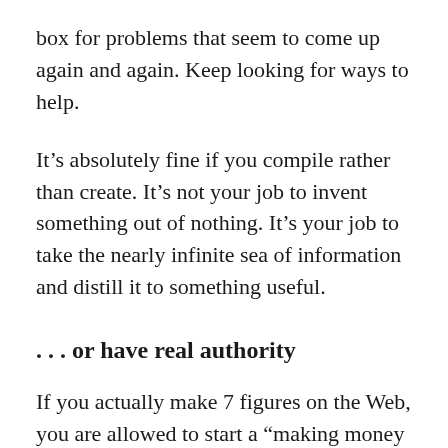box for problems that seem to come up again and again. Keep looking for ways to help.
It’s absolutely fine if you compile rather than create. It’s not your job to invent something out of nothing. It’s your job to take the nearly infinite sea of information and distill it to something useful.
. . . or have real authority
If you actually make 7 figures on the Web, you are allowed to start a “making money online” blog.